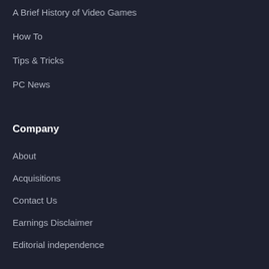A Brief History of Video Games
How To
Tips & Tricks
PC News
Company
About
Acquisitions
Contact Us
Earnings Disclaimer
Editorial independence
How We Test
Write For Us
Advertise with Us